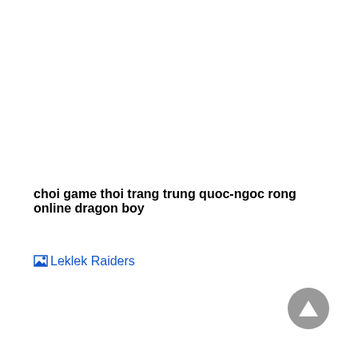choi game thoi trang trung quoc-ngoc rong online dragon boy
[Figure (other): Broken image icon followed by a hyperlink labeled 'Leklek Raiders' in blue]
[Figure (other): Gray circular scroll-to-top button with upward triangle arrow in the bottom right corner]